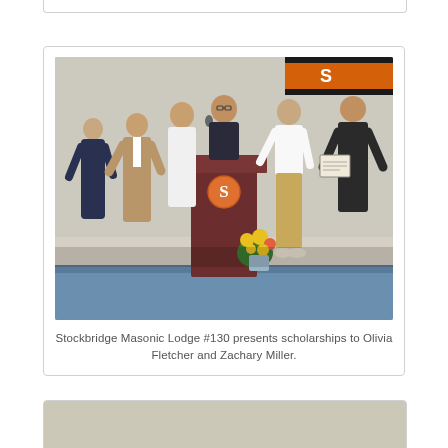[Figure (photo): Group of people on a stage at a school gymnasium. A man stands at a wooden podium bearing the letter S in orange. Several adults flank him on left, and a young man in white shirt and khaki pants stands to the right next to an older man in a dark suit holding a framed certificate. Sunflowers are arranged on the stage. An orange and black school banner is visible in the background.]
Stockbridge Masonic Lodge #130 presents scholarships to Olivia Fletcher and Zachary Miller.